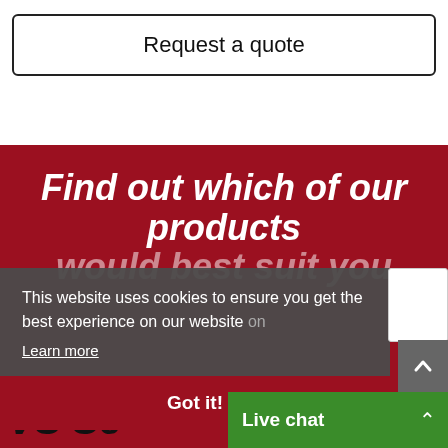Request a quote
Find out which of our products would best suit you
This website uses cookies to ensure you get the best experience on our website on
Learn more
Got it!
VS Se...d
Live chat